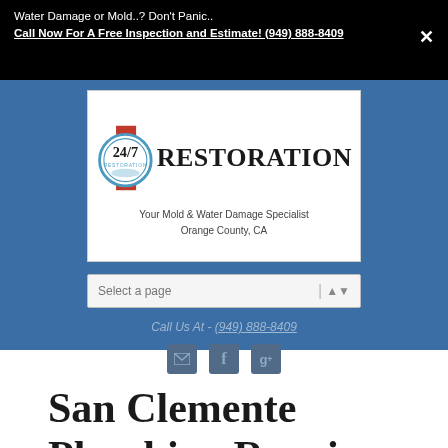Water Damage or Mold..? Don't Panic.. Call Now For A Free Inspection and Estimate! (949) 888-8409
[Figure (logo): 24/7 Restoration logo with circular badge showing '24/7' and red ribbon accent, text reads 'RESTORATION Your Mold & Water Damage Specialist Orange County, CA']
Select a page
Call Us At - (949) 888-8409
[Figure (infographic): Social media icons: email envelope, Facebook f, Google+ g+]
San Clemente Plumbing Repair